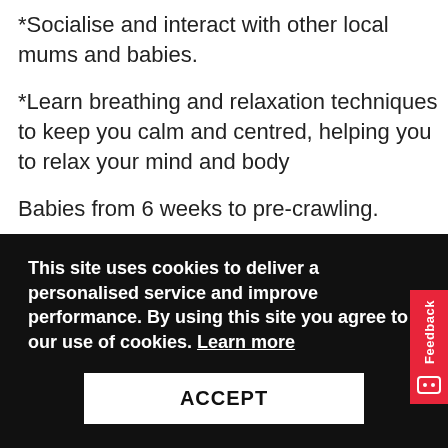*Socialise and interact with other local mums and babies.
*Learn breathing and relaxation techniques to keep you calm and centred, helping you to relax your mind and body
Babies from 6 weeks to pre-crawling.
Please note, you need to be at least 6 weeks postpartum and 10 weeks if you have had a
This site uses cookies to deliver a personalised service and improve performance. By using this site you agree to our use of cookies. Learn more
ACCEPT